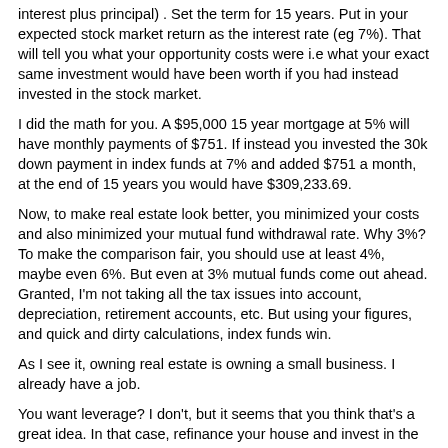interest plus principal) .  Set the term for 15 years.  Put in your expected stock market return as the interest rate (eg 7%).   That will tell you what your opportunity costs were i.e  what your exact same investment would have been worth if you had instead invested in the stock market.
I did the math for you.  A $95,000 15 year mortgage at 5% will have monthly payments of $751.   If instead you invested the 30k down payment in index funds at 7% and added $751 a month, at the end of 15 years you would have $309,233.69.
Now, to make real estate look better, you minimized your costs and also minimized your mutual fund withdrawal rate.  Why 3%?  To make the comparison fair, you should use at least 4%, maybe even 6%.  But even at 3%  mutual funds come out ahead.   Granted, I'm not taking all the tax issues into account, depreciation, retirement accounts, etc.  But using your figures,  and quick and dirty calculations, index funds win.
As I see it, owning real estate is owning a small business.    I already have a job.
You want leverage?  I don't, but it seems that you think that's a great idea.  In that case, refinance your house and invest in the stock market.  Now you have leverage.  You don't have to invest in real estate to have leverage.